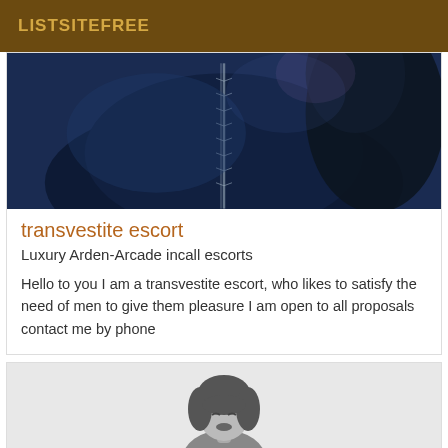LISTSITEFREE
[Figure (photo): Close-up photo of a person in a dark blue leather jacket with a zipper visible, dark hair visible on the right side, dark blue toned image]
transvestite escort
Luxury Arden-Arcade incall escorts
Hello to you I am a transvestite escort, who likes to satisfy the need of men to give them pleasure I am open to all proposals contact me by phone
[Figure (illustration): Illustrated grayscale image of a woman with dark bob hair, looking downward, on a light gray background]